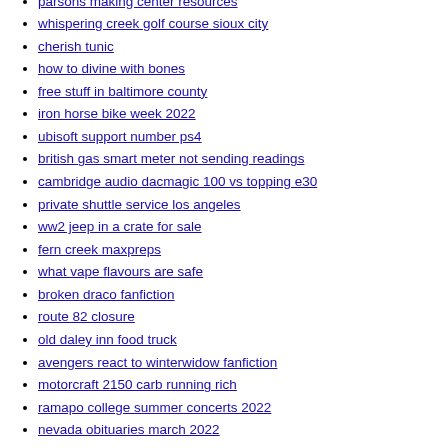parsons making center resources
whispering creek golf course sioux city
cherish tunic
how to divine with bones
free stuff in baltimore county
iron horse bike week 2022
ubisoft support number ps4
british gas smart meter not sending readings
cambridge audio dacmagic 100 vs topping e30
private shuttle service los angeles
ww2 jeep in a crate for sale
fern creek maxpreps
what vape flavours are safe
broken draco fanfiction
route 82 closure
old daley inn food truck
avengers react to winterwidow fanfiction
motorcraft 2150 carb running rich
ramapo college summer concerts 2022
nevada obituaries march 2022
duinotech relay
cannock to stafford bus 75a
windows hanging
houston crosta wikipedia
ca property tax due dates 2022
idiol... (partial, cut off)